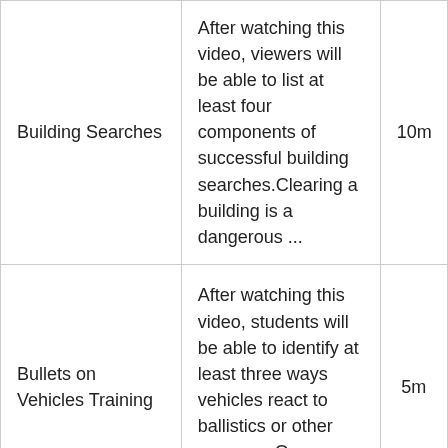| Building Searches | After watching this video, viewers will be able to list at least four components of successful building searches.Clearing a building is a dangerous ... | 10m |
| Bullets on Vehicles Training | After watching this video, students will be able to identify at least three ways vehicles react to ballistics or other weapons.On average police ... | 5m |
|  | In this video, Matt Stiehm discusses |  |